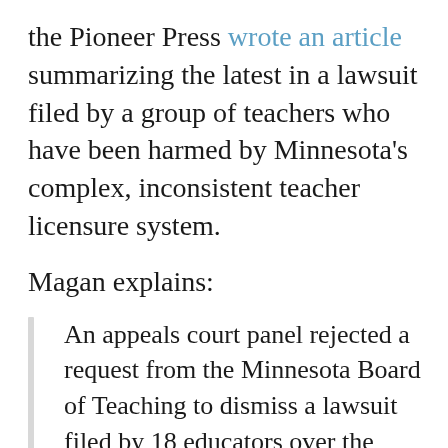the Pioneer Press wrote an article summarizing the latest in a lawsuit filed by a group of teachers who have been harmed by Minnesota's complex, inconsistent teacher licensure system.
Magan explains:
An appeals court panel rejected a request from the Minnesota Board of Teaching to dismiss a lawsuit filed by 18 educators over the state's often criticized system for licensing teachers.
The teachers' lawsuit claims the Board of Teaching made arbitrary and inconsistent